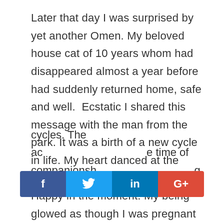Later that day I was surprised by yet another Omen. My beloved house cat of 10 years whom had disappeared almost a year before had suddenly returned home, safe and well.  Ecstatic I shared this message with the man from the park. It was a birth of a new cycle in life. My heart danced at the opportunity and the bliss I felt. Happy in the moment. My being glowed as though I was pregnant and in a way I was. My heart was opening; my soul was healing, my spirit dancing with the stars.  Yet all cycles have a transition point or what we call a death, an end.  Bobcat's message is a two part one. It is a message of cycles. The ac[companionship is done blossoming,] the petals of
[Figure (other): Social media sharing buttons bar: Facebook (f), Twitter (bird icon), LinkedIn (in), Google+ (G+)]